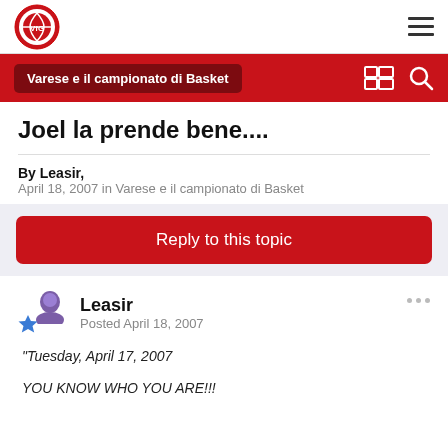[Figure (logo): VFG basketball logo circle, red and white]
Varese e il campionato di Basket
Joel la prende bene....
By Leasir,
April 18, 2007 in Varese e il campionato di Basket
Reply to this topic
Leasir
Posted April 18, 2007
"Tuesday, April 17, 2007

YOU KNOW WHO YOU ARE!!!